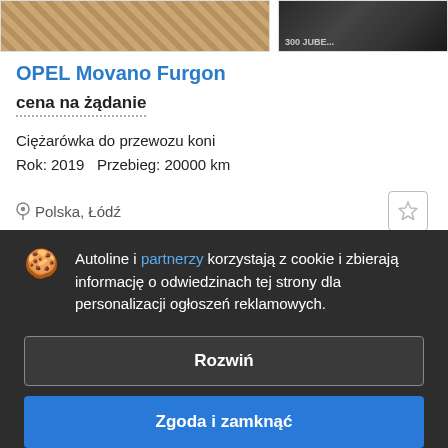[Figure (photo): Two partial vehicle listing thumbnails at top: left shows paved/brick surface pattern, right shows dark car interior/exterior detail]
OPEL Movano Furgon
cena na żądanie
Ciężarówka do przewozu koni
Rok: 2019  Przebieg: 20000 km
Polska, Łódź
Autoline i partnerzy korzystają z cookie i zbierają informację o odwiedzinach tej strony dla personalizacji ogłoszeń reklamowych.
Rozwiń
Zgoda i zamknąć
OP...
cena na żądanie